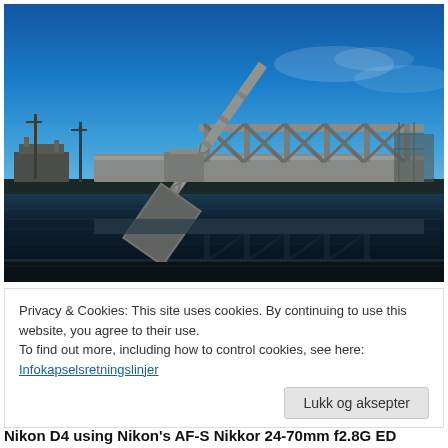[Figure (photo): Photograph of a large steel railway drawbridge/bascule bridge with a raised counterweight arm, reflected in calm dark water below. Bright blue sky in the background. Industrial setting with utility poles and structures visible.]
Privacy & Cookies: This site uses cookies. By continuing to use this website, you agree to their use.
To find out more, including how to control cookies, see here:
Infokapselsretningslinjer
Lukk og aksepter
Nikon D4 using Nikon's AF-S Nikkor 24-70mm f2.8G ED